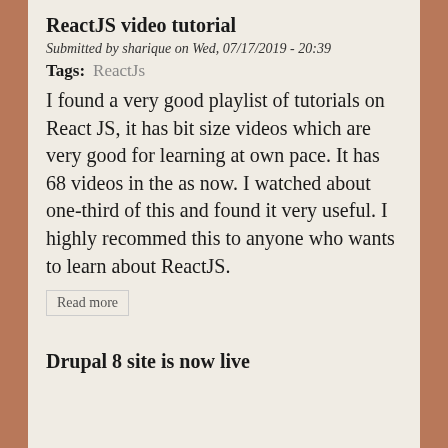ReactJS video tutorial
Submitted by sharique on Wed, 07/17/2019 - 20:39
Tags:   ReactJs
I found a very good playlist of tutorials on React JS, it has bit size videos which are very good for learning at own pace. It has 68 videos in the as now. I watched about one-third of this and found it very useful. I highly recommed this to anyone who wants to learn about ReactJS.
Read more
Drupal 8 site is now live